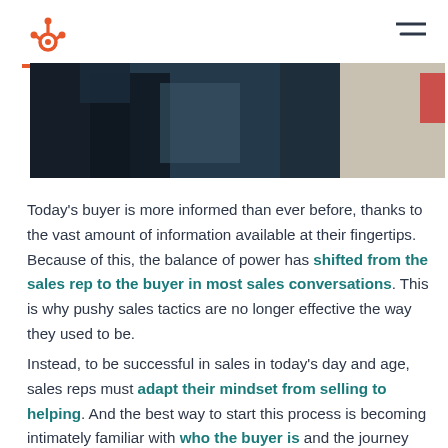HubSpot logo and navigation
[Figure (photo): Cropped photo of a person in a dark outfit, partially visible, in what appears to be a store or retail environment with light background on the right side.]
Today's buyer is more informed than ever before, thanks to the vast amount of information available at their fingertips. Because of this, the balance of power has shifted from the sales rep to the buyer in most sales conversations. This is why pushy sales tactics are no longer effective the way they used to be.
Instead, to be successful in sales in today's day and age, sales reps must adapt their mindset from selling to helping. And the best way to start this process is becoming intimately familiar with who the buyer is and the journey they take on their path to purchase: